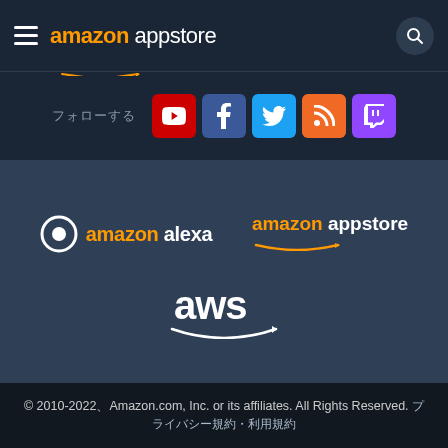amazon appstore
[Figure (logo): Social media icons: YouTube, Facebook, Twitter, Blog, Twitch with Japanese label]
[Figure (logo): Amazon Alexa logo (white text with Alexa ring icon) and Amazon Appstore logo side by side]
[Figure (logo): AWS logo in white on dark blue background]
© 2010-2022、Amazon.com, Inc. or its affiliates. All Rights Reserved. プライバシー規約・利用規約